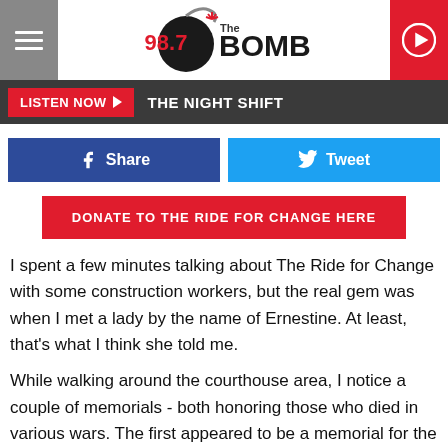[Figure (logo): 98.7 The Bomb radio station logo with hamburger menu on left and play button on right]
LISTEN NOW ▶  THE NIGHT SHIFT
f  Share    🐦  Tweet
DONATE TO THE RIDE FOR CHANGE HERE
I spent a few minutes talking about The Ride for Change with some construction workers, but the real gem was when I met a lady by the name of Ernestine. At least, that's what I think she told me.
While walking around the courthouse area, I notice a couple of memorials - both honoring those who died in various wars. The first appeared to be a memorial for the two world wars and the other was for the Vietnam and Korean wars.